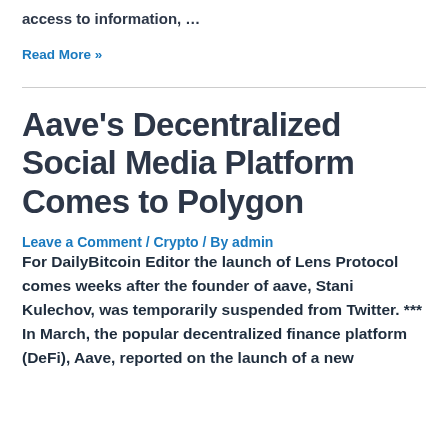access to information, …
Read More »
Aave's Decentralized Social Media Platform Comes to Polygon
Leave a Comment / Crypto / By admin
For DailyBitcoin Editor the launch of Lens Protocol comes weeks after the founder of aave, Stani Kulechov, was temporarily suspended from Twitter. *** In March, the popular decentralized finance platform (DeFi), Aave, reported on the launch of a new